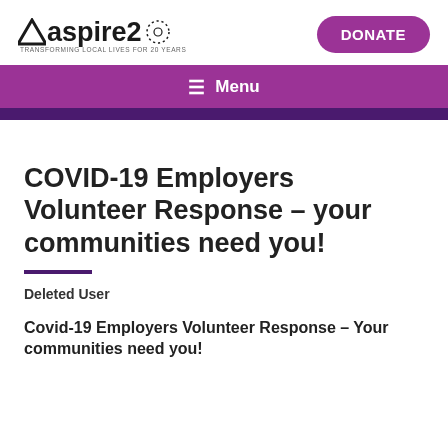[Figure (logo): Aspire 20 logo with triangular icon, text 'aspire 20' with dotted circular design, tagline 'TRANSFORMING LOCAL LIVES FOR 20 YEARS']
[Figure (other): Purple rounded rectangle DONATE button]
≡  Menu
COVID-19 Employers Volunteer Response – your communities need you!
Deleted User
Covid-19 Employers Volunteer Response – Your communities need you!